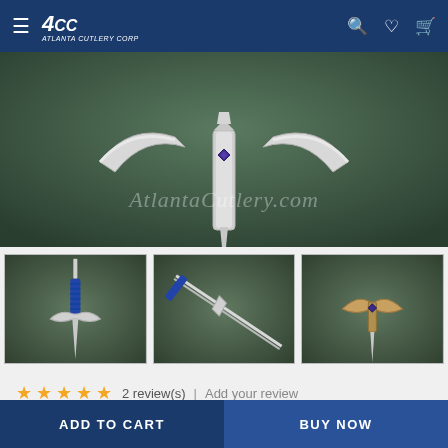Atlanta Cutlery Corp navigation bar with menu, logo, search, wishlist, and cart icons
[Figure (photo): Close-up of a sword crossguard and blade with 'AtlantaCutlery.com' watermark on dark green background]
[Figure (photo): Thumbnail: Full sword view with blue wrapped handle on green background]
[Figure (photo): Thumbnail: Sword lying diagonally showing full length blade and handle]
[Figure (photo): Thumbnail: Close-up of sword crossguard from front view]
2 review(s) | Add your review
ADD TO CART
BUY NOW